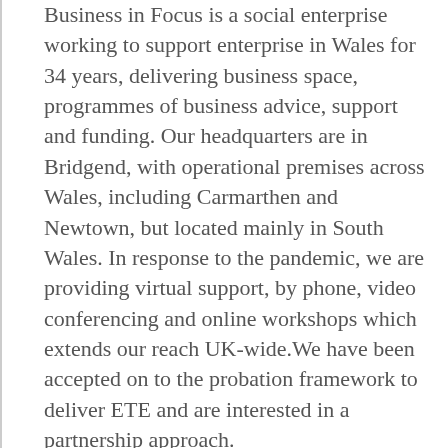Business in Focus is a social enterprise working to support enterprise in Wales for 34 years, delivering business space, programmes of business advice, support and funding. Our headquarters are in Bridgend, with operational premises across Wales, including Carmarthen and Newtown, but located mainly in South Wales. In response to the pandemic, we are providing virtual support, by phone, video conferencing and online workshops which extends our reach UK-wide.We have been accepted on to the probation framework to deliver ETE and are interested in a partnership approach.
Our self-employment support helps individuals, regardless of their background, to develop entrepreneurial skills/behaviours and improve their chances of managing a successful, sustainable business. We aim to increase motivation, generate business ideas, develop